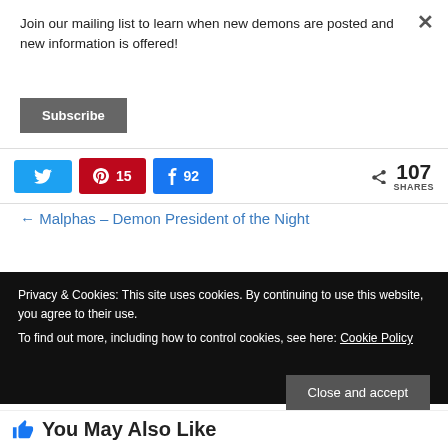Join our mailing list to learn when new demons are posted and new information is offered!
Subscribe
107 SHARES
← Malphas – Demon President of the Night
Privacy & Cookies: This site uses cookies. By continuing to use this website, you agree to their use.
To find out more, including how to control cookies, see here: Cookie Policy
Close and accept
You May Also Like